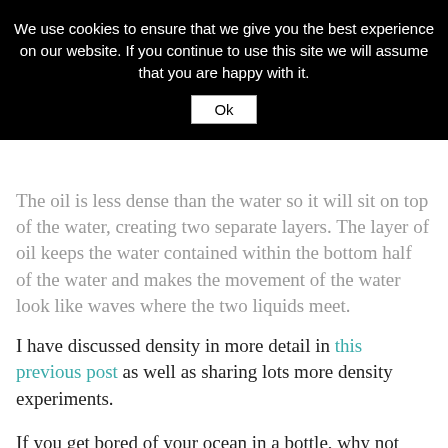We use cookies to ensure that we give you the best experience on our website. If you continue to use this site we will assume that you are happy with it.
Ok
The oil is less dense than the water so it will sit on top of the water, creating two separate layers. The layer of oil keeps the water contained within the bottom half of the water and makes the movement of the water look like waves where the two liquids meet.
I have discussed density in more detail in this previous post as well as sharing lots more density experiments.
If you get bored of your ocean in a bottle, why not stand it upright again and add some Alka Seltzer tablets to instantly turn it into a lava lamp!